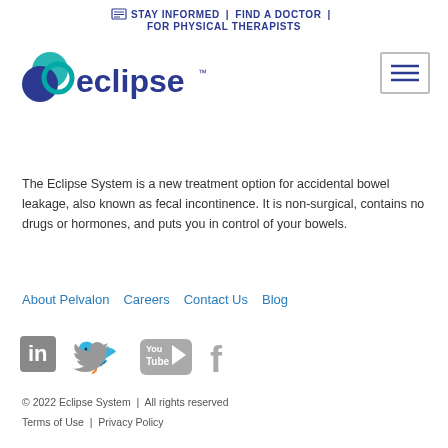STAY INFORMED | FIND A DOCTOR | FOR PHYSICAL THERAPISTS
[Figure (logo): Eclipse by Pelvalon logo — teal and dark blue overlapping circles with 'eclipse' text in dark blue]
[Figure (other): Hamburger menu icon (three horizontal lines) in a square border]
The Eclipse System is a new treatment option for accidental bowel leakage, also known as fecal incontinence. It is non-surgical, contains no drugs or hormones, and puts you in control of your bowels.
About Pelvalon   Careers   Contact Us   Blog
[Figure (other): Social media icons: LinkedIn, Twitter, YouTube, Facebook in gray]
© 2022 Eclipse System | All rights reserved
Terms of Use | Privacy Policy